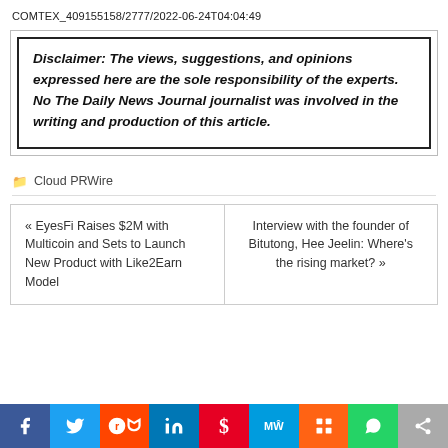COMTEX_409155158/2777/2022-06-24T04:04:49
Disclaimer: The views, suggestions, and opinions expressed here are the sole responsibility of the experts. No The Daily News Journal journalist was involved in the writing and production of this article.
Cloud PRWire
« EyesFi Raises $2M with Multicoin and Sets to Launch New Product with Like2Earn Model
Interview with the founder of Bitutong, Hee Jeelin: Where's the rising market? »